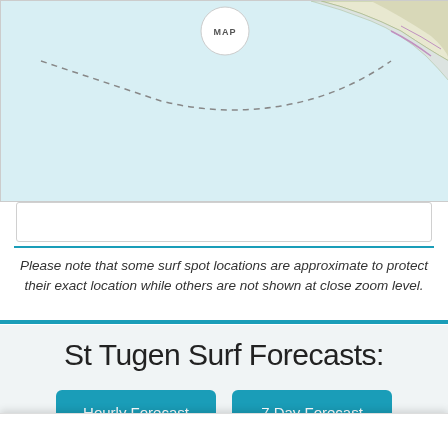[Figure (map): Coastal map showing light blue ocean area with dashed navigation/surf route line and land features in upper right corner. A circular 'MAP' label button appears at top center.]
Please note that some surf spot locations are approximate to protect their exact location while others are not shown at close zoom level.
St Tugen Surf Forecasts:
Hourly Forecast
7 Day Forecast